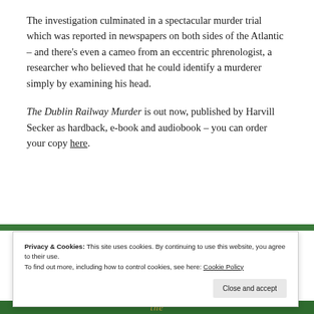The investigation culminated in a spectacular murder trial which was reported in newspapers on both sides of the Atlantic – and there's even a cameo from an eccentric phrenologist, a researcher who believed that he could identify a murderer simply by examining his head.
The Dublin Railway Murder is out now, published by Harvill Secker as hardback, e-book and audiobook – you can order your copy here.
Privacy & Cookies: This site uses cookies. By continuing to use this website, you agree to their use.
To find out more, including how to control cookies, see here: Cookie Policy
Close and accept